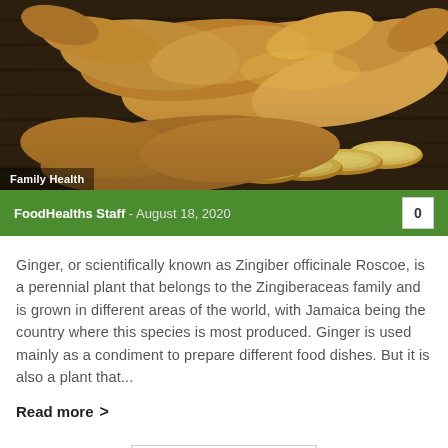[Figure (photo): Photo of fresh ginger root pieces and slices on a dark wooden surface]
Family Health
FoodHealths Staff - August 18, 2020   0
Ginger, or scientifically known as Zingiber officinale Roscoe, is a perennial plant that belongs to the Zingiberaceas family and is grown in different areas of the world, with Jamaica being the country where this species is most produced. Ginger is used mainly as a condiment to prepare different food dishes. But it is also a plant that...
Read more >
Load more